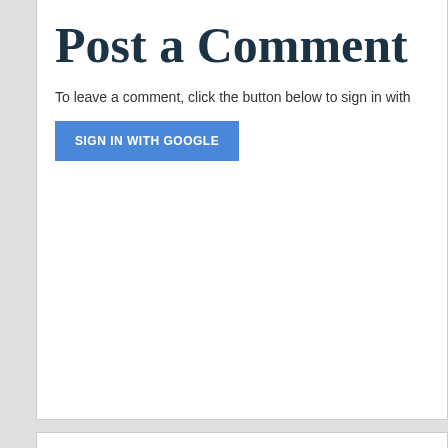Post a Comment
To leave a comment, click the button below to sign in with
SIGN IN WITH GOOGLE
Newer Post
Home
Subscribe to: Post Com
Labels
map old school style adventure role